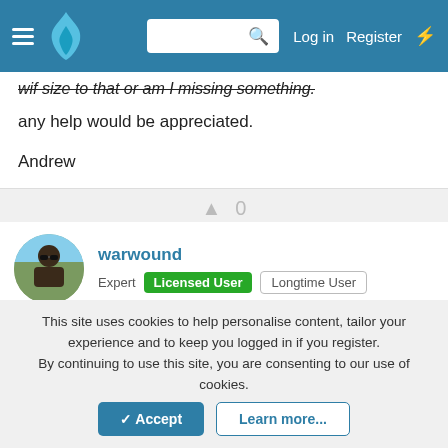Log in  Register
wif size to that or am I missing something.
any help would be appreciated.
Andrew
0
warwound
Expert  Licensed User  Longtime User
Aug 8, 2013  #45
Let me start by saying i'm not a user of this library - just the developer.
This site uses cookies to help personalise content, tailor your experience and to keep you logged in if you register.
By continuing to use this site, you are consenting to our use of cookies.